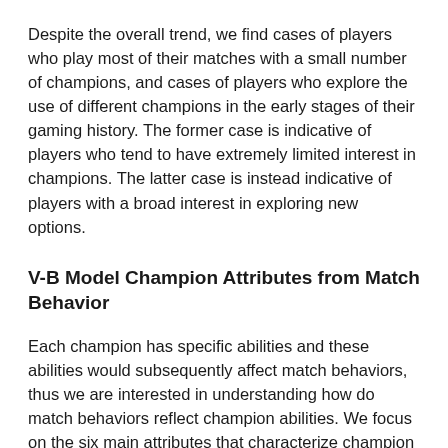Despite the overall trend, we find cases of players who play most of their matches with a small number of champions, and cases of players who explore the use of different champions in the early stages of their gaming history. The former case is indicative of players who tend to have extremely limited interest in champions. The latter case is instead indicative of players with a broad interest in exploring new options.
V-B Model Champion Attributes from Match Behavior
Each champion has specific abilities and these abilities would subsequently affect match behaviors, thus we are interested in understanding how do match behaviors reflect champion abilities. We focus on the six main attributes that characterize champion abilities: control, damage, difficulty, mobility, toughness, and utility. We then formulate this problem as LME models for champion attributes. Here, each attribute is modeled with the 11 match features as candidate fixed effects and three demographic factors as candidate random effects.